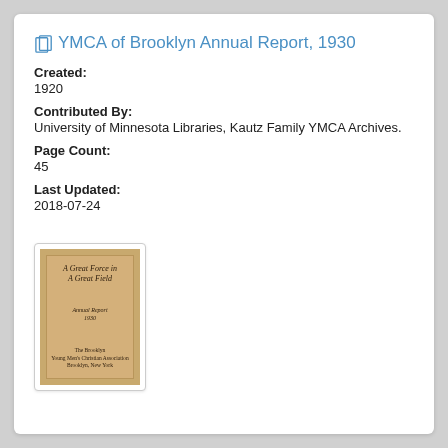YMCA of Brooklyn Annual Report, 1930
Created:
1920
Contributed By:
University of Minnesota Libraries, Kautz Family YMCA Archives.
Page Count:
45
Last Updated:
2018-07-24
[Figure (photo): Thumbnail of book cover reading 'A Great Force in A Great Field, Annual Report 1930, The Brooklyn Young Men's Christian Association, Brooklyn, New York']